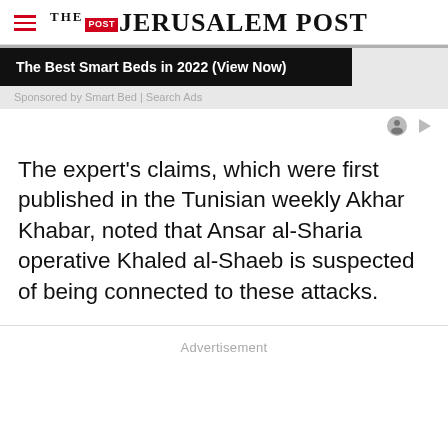THE JERUSALEM POST
[Figure (screenshot): Advertisement banner: 'The Best Smart Beds in 2022 (View Now)' on black background, sponsored by Smart Bed | Search Ads]
The expert's claims, which were first published in the Tunisian weekly Akhar Khabar, noted that Ansar al-Sharia operative Khaled al-Shaeb is suspected of being connected to these attacks.
Advertisement